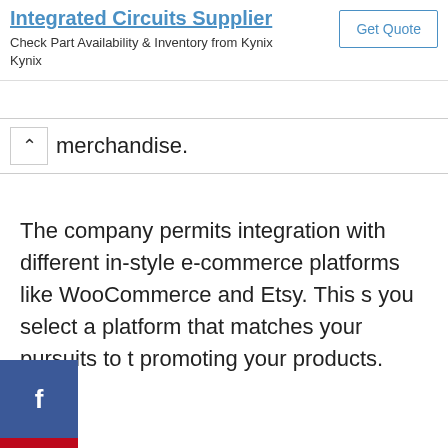Integrated Circuits Supplier
Check Part Availability & Inventory from Kynix
Kynix
merchandise.
The company permits integration with different in-style e-commerce platforms like WooCommerce and Etsy. This s you select a platform that matches your pursuits to t promoting your products.